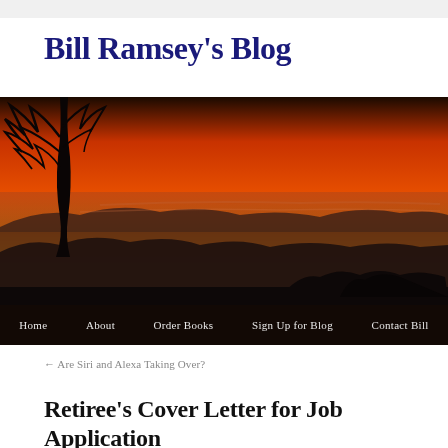Bill Ramsey's Blog
[Figure (photo): Sunset landscape photo with silhouetted trees and orange sky, with navigation bar overlaid at bottom showing: Home, About, Order Books, Sign Up for Blog, Contact Bill]
← Are Siri and Alexa Taking Over?
Retiree's Cover Letter for Job Application